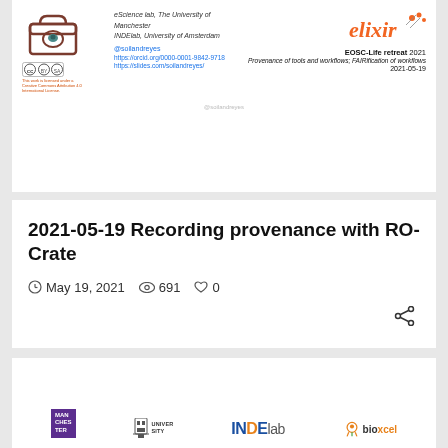[Figure (screenshot): Slide thumbnail showing RO-Crate logo, eScience lab University of Manchester, INDElab University of Amsterdam affiliations, ELIXIR logo, EOSC-Life retreat 2021, Creative Commons license badge, social handle @soilandreyes, ORCID and slides links, title 'Provenance of tools and workflows; FAIRification of workflows', date 2021-05-19]
2021-05-19 Recording provenance with RO-Crate
May 19, 2021  691  0
[Figure (logo): Bottom card showing logos: University of Manchester (purple), University of Amsterdam crest, INDElab logo, bioexcel logo]